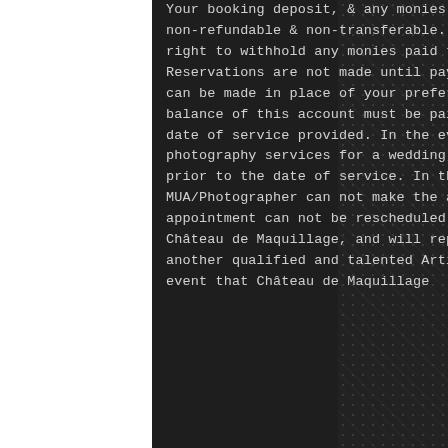Your booking deposit, & any monies paid to Château de Maquillage, is non-refundable & non-transferable. Château de Maquillage, reserves the right to withhold any monies paid to offset the loss of business. Reservations are not made until payment is received, additional bookings can be made in place of your preferred date and time. The remaining balance of this account must be paid on, or before (no later) than the date of service provided. In the event of booking either makeup or photography services for a wedding, the balance MUST be paid 7 days prior to the date of service. In the event that your chosen MUA/Photographer can not make the appointment for any reason & the appointment can not be rescheduled the client will be notified by Château de Maquillage, and will replace the MUA/Photographer with another qualified and talented Artist to attend the appointment. In the event that Château de Maquillage